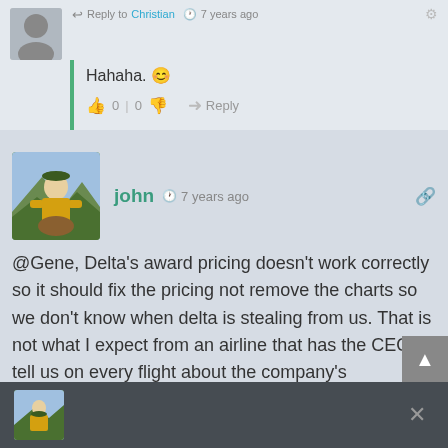↩ Reply to Christian  🕐 7 years ago
Hahaha. 😊
👍 0 | 0 👎  → Reply
[Figure (photo): User avatar photo of john - person in yellow jacket outdoors]
john 🕐 7 years ago
@Gene, Delta's award pricing doesn't work correctly so it should fix the pricing not remove the charts so we don't know when delta is stealing from us. That is not what I expect from an airline that has the CEO tell us on every flight about the company's commitment to honesty, integrity and respect.
👍 0 | 0 👎  → Reply